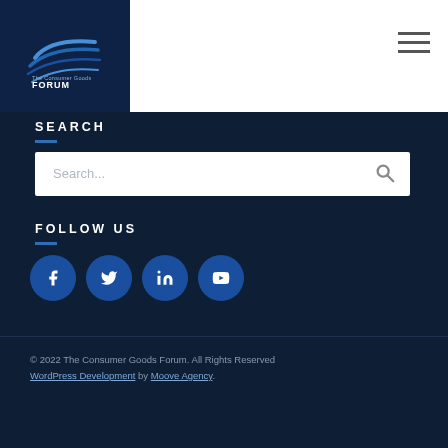The Consumer Goods Forum
SEARCH
Search...
FOLLOW US
[Figure (other): Social media icon buttons: Facebook, Twitter, LinkedIn, YouTube]
© 2022 The Consumer Goods Forum. All Rights Reserved
WordPress Development by Moove Agency.